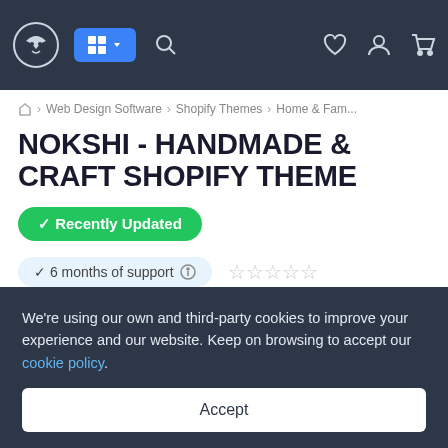[Figure (screenshot): Navigation bar with logo, apps button, search icon, wishlist, account, and cart icons on dark background]
⌂ > Web Design Software > Shopify Themes > Home & Fam...
NOKSHI - HANDMADE & CRAFT SHOPIFY THEME
✓ Recently Updated
✓ 6 months of support ⓘ  ☆☆☆☆☆
Sales: 4
Description    Reviews    Comments
We're using our own and third-party cookies to improve your experience and our website. Keep on browsing to accept our cookie policy.
Accept